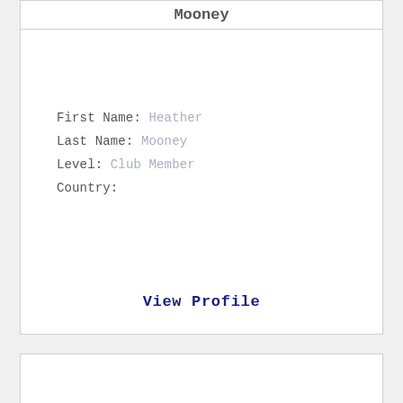Mooney
First Name: Heather
Last Name: Mooney
Level: Club Member
Country:
View Profile